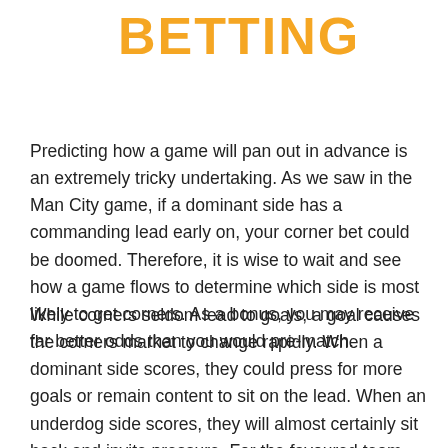BETTING
Predicting how a game will pan out in advance is an extremely tricky undertaking. As we saw in the Man City game, if a dominant side has a commanding lead early on, your corner bet could be doomed. Therefore, it is wise to wait and see how a game flows to determine which side is most likely to get corners. As a bonus, you may receive far better odds than you would pre-match.
While corners seldom lead to goals, a goal causes the corners market to change rapidly. When a dominant side scores, they could press for more goals or remain content to sit on the lead. When an underdog side scores, they will almost certainly sit back and invite pressure. For the favoured team, playing